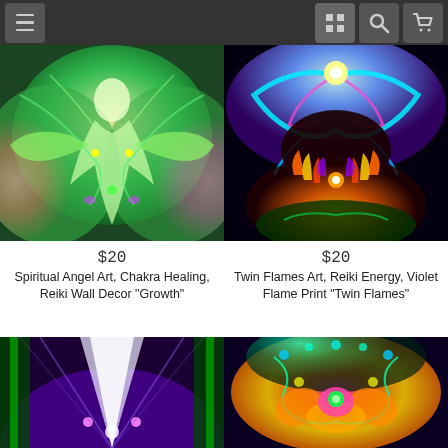Navigation bar with menu, grid, search, and cart icons
[Figure (illustration): Spiritual angel art with green swirling fractal patterns, chakra energy figure in center with warm tones]
$20
Spiritual Angel Art, Chakra Healing, Reiki Wall Decor "Growth"
[Figure (illustration): Twin Flames art with cyan, purple, and orange flames on dark background, symmetrical energy figures]
$20
Twin Flames Art, Reiki Energy, Violet Flame Print "Twin Flames"
[Figure (illustration): Purple and green spiritual art with light beams radiating upward, partially visible at bottom]
[Figure (illustration): Colorful fractal butterfly or mandala art with pink, orange, yellow, teal tones, partially visible at bottom]